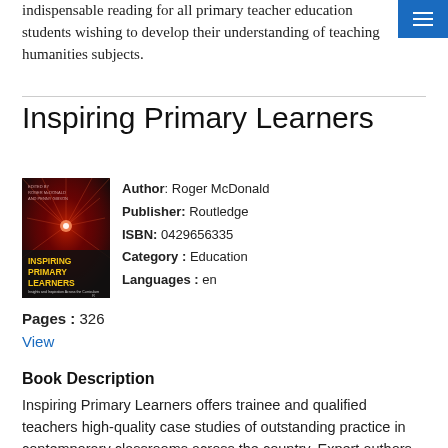indispensable reading for all primary teacher education students wishing to develop their understanding of teaching humanities subjects.
Inspiring Primary Learners
[Figure (illustration): Book cover of 'Inspiring Primary Learners' with red/dark cosmic background and yellow title text]
Author: Roger McDonald
Publisher: Routledge
ISBN: 0429656335
Category: Education
Languages: en
Pages : 326
View
Book Description
Inspiring Primary Learners offers trainee and qualified teachers high-quality case studies of outstanding practice in contemporary classrooms across the country. Expert authors unravel and reveal